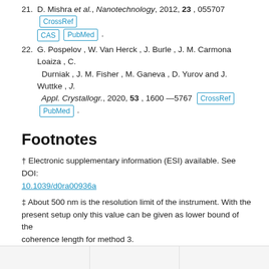21. D. Mishra et al., Nanotechnology, 2012, 23, 055707 [CrossRef] [CAS] [PubMed].
22. G. Pospelov, W. Van Herck, J. Burle, J. M. Carmona Loaiza, C. Durniak, J. M. Fisher, M. Ganeva, D. Yurov and J. Wuttke, J. Appl. Crystallogr., 2020, 53, 1600–5767 [CrossRef] [PubMed].
Footnotes
† Electronic supplementary information (ESI) available. See DOI: 10.1039/d0ra00936a
‡ About 500 nm is the resolution limit of the instrument. With the present setup only this value can be given as lower bound of the coherence length for method 3.
This journal is © The Royal Society of Chemistry 2020